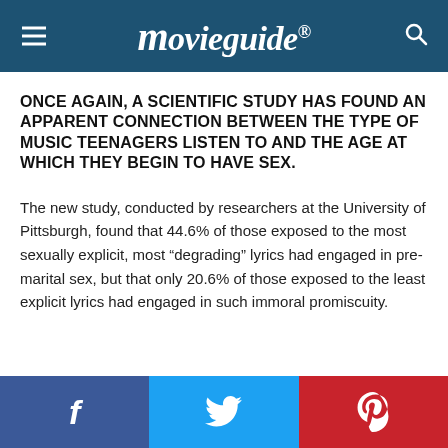movieguide®
ONCE AGAIN, A SCIENTIFIC STUDY HAS FOUND AN APPARENT CONNECTION BETWEEN THE TYPE OF MUSIC TEENAGERS LISTEN TO AND THE AGE AT WHICH THEY BEGIN TO HAVE SEX.
The new study, conducted by researchers at the University of Pittsburgh, found that 44.6% of those exposed to the most sexually explicit, most "degrading" lyrics had engaged in pre-marital sex, but that only 20.6% of those exposed to the least explicit lyrics had engaged in such immoral promiscuity.
Facebook | Twitter | Pinterest